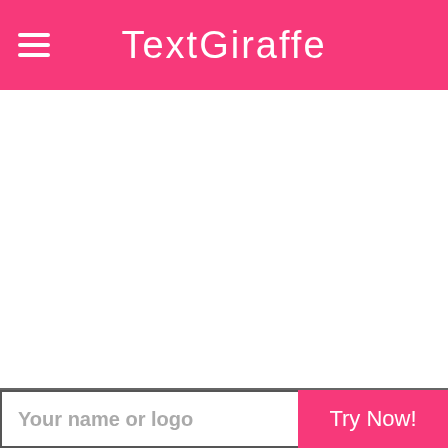TextGiraffe
[Figure (screenshot): White blank content area below the pink header]
Your name or logo
Try Now!